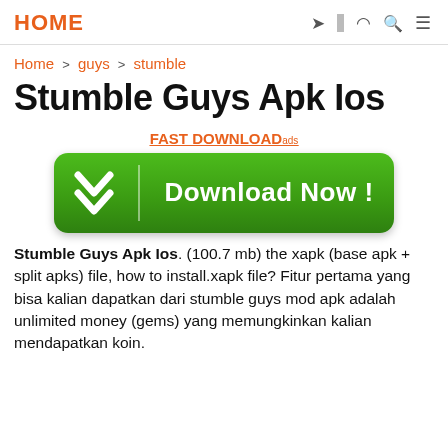HOME
Home > guys > stumble
Stumble Guys Apk Ios
FAST DOWNLOADads
[Figure (other): Green Download Now button with double chevron icon and vertical divider]
Stumble Guys Apk Ios. (100.7 mb) the xapk (base apk + split apks) file, how to install.xapk file? Fitur pertama yang bisa kalian dapatkan dari stumble guys mod apk adalah unlimited money (gems) yang memungkinkan kalian mendapatkan koin.